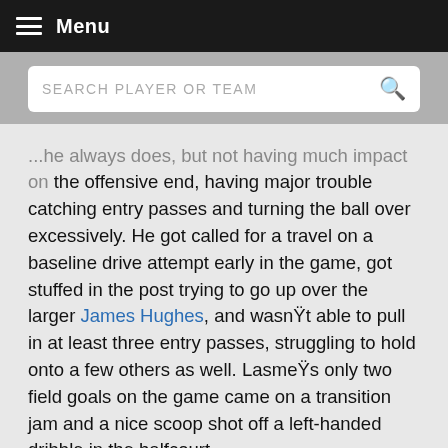Menu
...he always does, but not having much impact on the offensive end, having major trouble catching entry passes and turning the ball over excessively. He got called for a travel on a baseline drive attempt early in the game, got stuffed in the post trying to go up over the larger James Hughes, and wasnt able to pull in at least three entry passes, struggling to hold onto a few others as well. Lasmes only two field goals on the game came on a transition jam and a nice scoop shot off a left-handed dribble in the halfcourt.
Defensively is where Lasme made his presence known, blocking shots in man-to-man and weakside situations around the basket, using his length and explosiveness the best way he could. He came from behind drivers going down the lane, blocked his man straight up in the post, and rotated over from the weakside to swat shots as well.